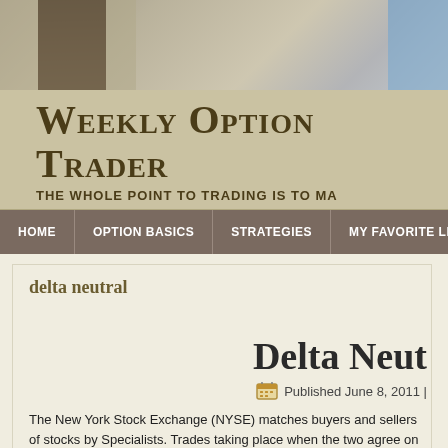[Figure (photo): Website header banner with decorative photo showing dark and light tones]
Weekly Option Trader
THE WHOLE POINT TO TRADING IS TO MA
HOME | OPTION BASICS | STRATEGIES | MY FAVORITE LINKS | RE
delta neutral
Delta Neut
Published June 8, 2011 |
The New York Stock Exchange (NYSE) matches buyers and sellers of stocks by Specialists.  Trades taking place when the two agree on price, one coming